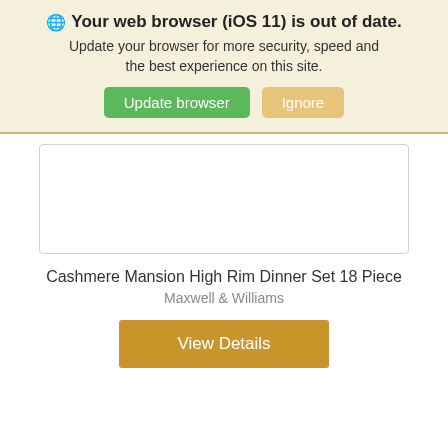🌐 Your web browser (iOS 11) is out of date. Update your browser for more security, speed and the best experience on this site.
Update browser
Ignore
[Figure (other): Empty white product image placeholder with border]
Cashmere Mansion High Rim Dinner Set 18 Piece
Maxwell & Williams
View Details